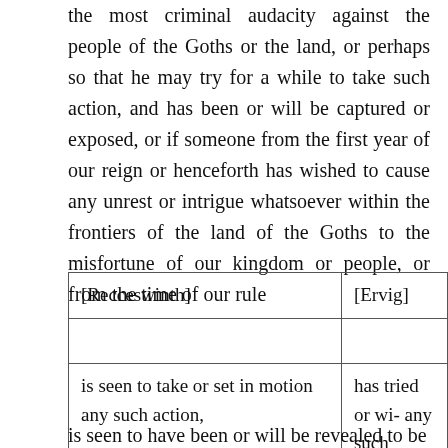the most criminal audacity against the people of the Goths or the land, or perhaps so that he may try for a while to take such action, and has been or will be captured or exposed, or if someone from the first year of our reign or henceforth has wished to cause any unrest or intrigue whatsoever within the frontiers of the land of the Goths to the misfortune of our kingdom or people, or from the time of our rule
| [Recceswinth] | [Ervig] |
| --- | --- |
|  |  |
| is seen to take or set in motion any such action, | has tried or wi- any such actio- of mention) |
is seen to have been or will be revealed to be